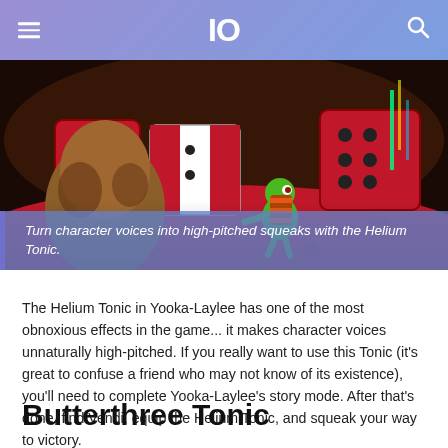IO
[Figure (screenshot): Screenshot from Yooka-Laylee game showing a green chameleon character and large dice on a red game board surface, with casino-like colorful environment]
Turn character voices into high-pitched squeaks with the Helium Tonic.
The Helium Tonic in Yooka-Laylee has one of the most obnoxious effects in the game... it makes character voices unnaturally high-pitched. If you really want to use this Tonic (it's great to confuse a friend who may not know of its existence), you'll need to complete Yooka-Laylee's story mode. After that's done, find Vendi, equip the Helium Tonic, and squeak your way to victory.
Butterthree Tonic